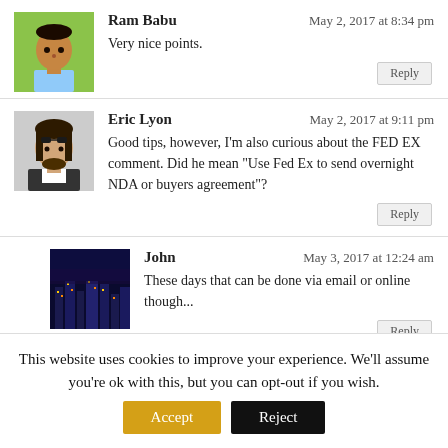Ram Babu — May 2, 2017 at 8:34 pm — Very nice points.
Eric Lyon — May 2, 2017 at 9:11 pm — Good tips, however, I'm also curious about the FED EX comment. Did he mean "Use Fed Ex to send overnight NDA or buyers agreement"?
John — May 3, 2017 at 12:24 am — These days that can be done via email or online though...
This website uses cookies to improve your experience. We'll assume you're ok with this, but you can opt-out if you wish.